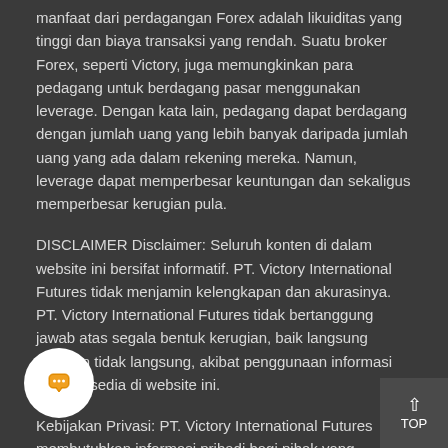manfaat dari perdagangan Forex adalah likuiditas yang tinggi dan biaya transaksi yang rendah. Suatu broker Forex, seperti Victory, juga memungkinkan para pedagang untuk berdagang pasar menggunakan leverage. Dengan kata lain, pedagang dapat berdagang dengan jumlah uang yang lebih banyak daripada jumlah uang yang ada dalam rekening mereka. Namun, leverage dapat memperbesar keuntungan dan sekaligus memperbesar kerugian pula.
DISCLAIMER Disclaimer: Seluruh konten di dalam website ini bersifat informatif. PT. Victory International Futures tidak menjamin kelengkapan dan akurasinya. PT. Victory International Futures tidak bertanggung jawab atas segala bentuk kerugian, baik langsung maupun tidak langsung, akibat penggunaan informasi yang tersedia di website ini.
Kebijakan Privasi: PT. Victory International Futures membutuhkan informasi pribadi bagi pihak yang melakukan pendaftaran demo dan live account untuk kepentingan internal. PT. Victory International Futures dan karyawannya berkewajiban menjaga kerahasiaan informasi tersebut dan tidak akan memberikannya kepada pihak ketiga. Namun jika diwajibkan oleh undang-undang, PT. Victory International Futures dapat memberikan informasi tersebut ke otoritas publik.